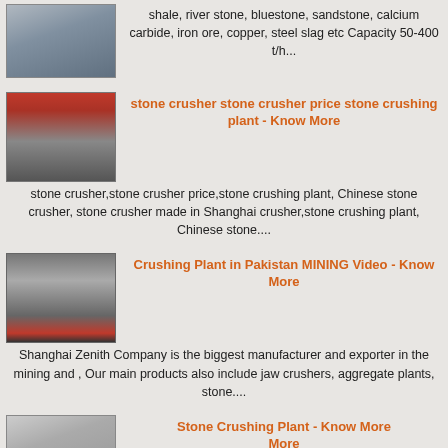[Figure (photo): Industrial equipment photo - top left thumbnail]
shale, river stone, bluestone, sandstone, calcium carbide, iron ore, copper, steel slag etc Capacity 50-400 t/h...
[Figure (photo): Stone crusher equipment with red/orange textured surface]
stone crusher stone crusher price stone crushing plant - Know More
stone crusher,stone crusher price,stone crushing plant, Chinese stone crusher, stone crusher made in Shanghai crusher,stone crushing plant, Chinese stone....
[Figure (photo): Crushing plant machinery panel with bolts]
Crushing Plant in Pakistan MINING Video - Know More
Shanghai Zenith Company is the biggest manufacturer and exporter in the mining and , Our main products also include jaw crushers, aggregate plants, stone....
[Figure (photo): Stone crushing plant machinery - bottom thumbnail]
Stone Crushing Plant - Know More